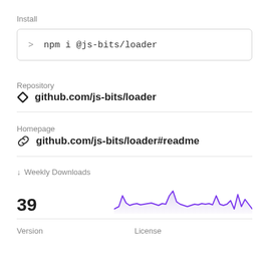Install
> npm i @js-bits/loader
Repository
github.com/js-bits/loader
Homepage
github.com/js-bits/loader#readme
↓ Weekly Downloads
39
[Figure (line-chart): Area line chart showing weekly download counts over time, with purple line and shaded area. Values fluctuate with peaks around 4-6x baseline.]
Version
License